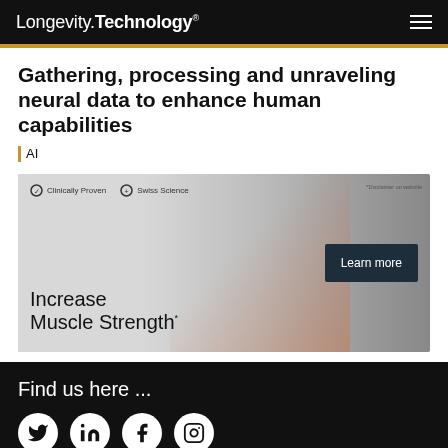Longevity.Technology®
Gathering, processing and unraveling neural data to enhance human capabilities
| AI
[Figure (photo): Advertisement banner featuring a cyclist in red gear. Text reads: Clinically Proven, Swiss Science, Increase Muscle Strength*, Learn more button. Disclaimer text in top right.]
Find us here ...
[Figure (illustration): Social media icons: Twitter, LinkedIn, Facebook, Instagram — white circles on black background]
Subscribe to our newsletter